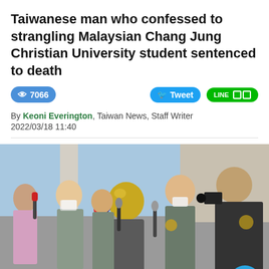Taiwanese man who confessed to strangling Malaysian Chang Jung Christian University student sentenced to death
7066 views | Tweet | LINE share
By Keoni Everington, Taiwan News, Staff Writer
2022/03/18 11:40
[Figure (photo): Press conference scene showing a suspect with a gold helmet covering their face, surrounded by police officers in plain clothes and reporters with microphones and cameras. A blue notification bell button is overlaid in the bottom right corner.]